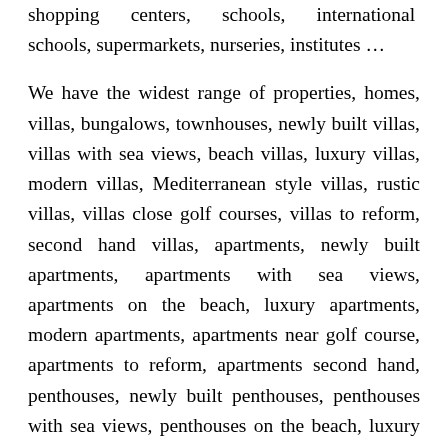shopping centers, schools, international schools, supermarkets, nurseries, institutes ...
We have the widest range of properties, homes, villas, bungalows, townhouses, newly built villas, villas with sea views, beach villas, luxury villas, modern villas, Mediterranean style villas, rustic villas, villas close golf courses, villas to reform, second hand villas, apartments, newly built apartments, apartments with sea views, apartments on the beach, luxury apartments, modern apartments, apartments near golf course, apartments to reform, apartments second hand, penthouses, newly built penthouses, penthouses with sea views, penthouses on the beach, luxury penthouses, modern penthouses, penthouses near golf course, penthouses to reform, second-hand penthouses, plots and land both urban rustic, plots with sea views, plots on the beach, plots on the seafront, plots with houses to reform, plots with